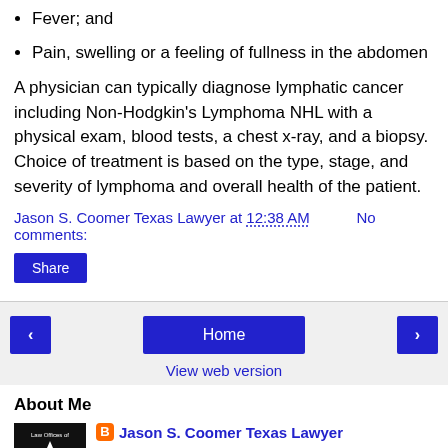Fever; and
Pain, swelling or a feeling of fullness in the abdomen
A physician can typically diagnose lymphatic cancer including Non-Hodgkin's Lymphoma NHL with a physical exam, blood tests, a chest x-ray, and a biopsy. Choice of treatment is based on the type, stage, and severity of lymphoma and overall health of the patient.
Jason S. Coomer Texas Lawyer at 12:38 AM    No comments:
Share
Home
View web version
About Me
[Figure (logo): Law Offices of Jason S. Coomer, PLLC logo with a star on dark background]
Jason S. Coomer Texas Lawyer
Texas Lawyer Jason S. Coomer is an Austin Texas